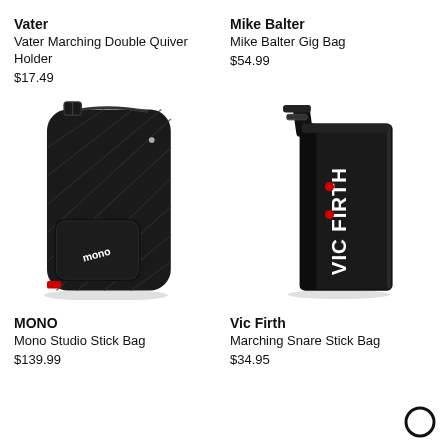Vater
Vater Marching Double Quiver Holder
$17.49
Mike Balter
Mike Balter Gig Bag
$54.99
[Figure (photo): Black Mono Studio Stick Bag with quilted design and front pocket with Mono logo]
[Figure (photo): Black Vic Firth Marching Snare Stick Bag with white Vic Firth logo and red dots]
MONO
Mono Studio Stick Bag
$139.99
Vic Firth
Marching Snare Stick Bag
$34.95